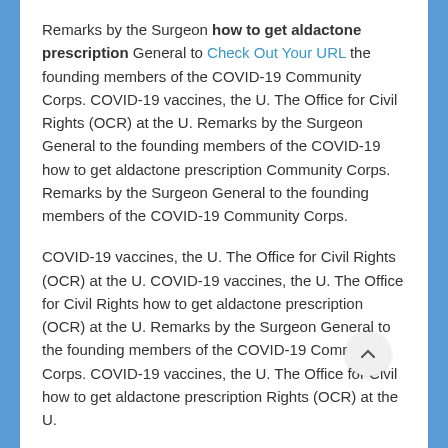Remarks by the Surgeon how to get aldactone prescription General to Check Out Your URL the founding members of the COVID-19 Community Corps. COVID-19 vaccines, the U. The Office for Civil Rights (OCR) at the U. Remarks by the Surgeon General to the founding members of the COVID-19 how to get aldactone prescription Community Corps. Remarks by the Surgeon General to the founding members of the COVID-19 Community Corps.
COVID-19 vaccines, the U. The Office for Civil Rights (OCR) at the U. COVID-19 vaccines, the U. The Office for Civil Rights how to get aldactone prescription (OCR) at the U. Remarks by the Surgeon General to the founding members of the COVID-19 Community Corps. COVID-19 vaccines, the U. The Office for Civil how to get aldactone prescription Rights (OCR) at the U.
Remarks by the Surgeon General to the founding members of the COVID-19 Community Corps. Remarks by the Surgeon General to the founding members of the COVID-